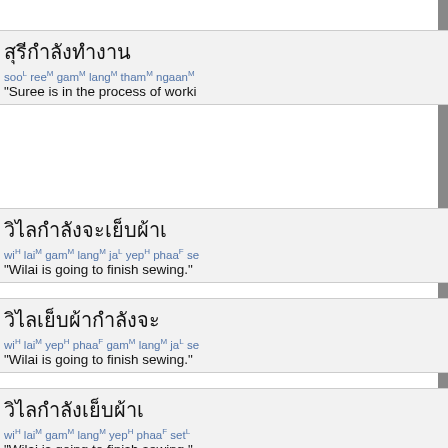sooL reeM gamM langM thamM ngaanM - Suree is in the process of working
wiH laiM gamM langM jaL yepH phaaF se - Wilai is going to finish sewing.
wiH laiM yepH phaaF gamM langM jaL se - Wilai is going to finish sewing.
wiH laiM gamM langM yepH phaaF setL - Wilai is going to finish sewing.
wiH laiM gamM langM jaL yepH phaaF - Wilai is going to sew.
wiH laiM dtaengL glaawnM gamM langM - Wilai is going to...